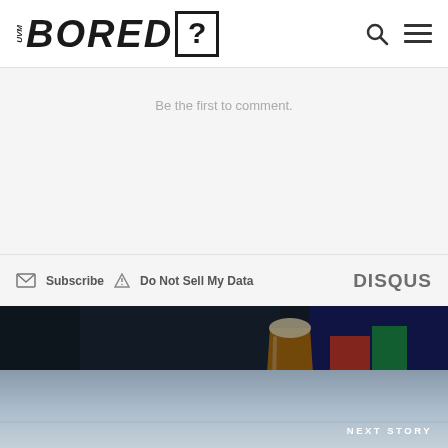UVM BORED?
Be the first to comment.
Subscribe  Do Not Sell My Data  DISQUS
[Figure (photo): Dark background photo of an arcade bar setting with a beer glass in the foreground, colorful arcade game graphics visible on the right side]
PREVIOUS STORY
THE ARCHIVES: AN ARCADE BAR FOR BURLINGTON
[Figure (photo): Partial view of next story section with muted sky/horizon background]
NEXT STORY